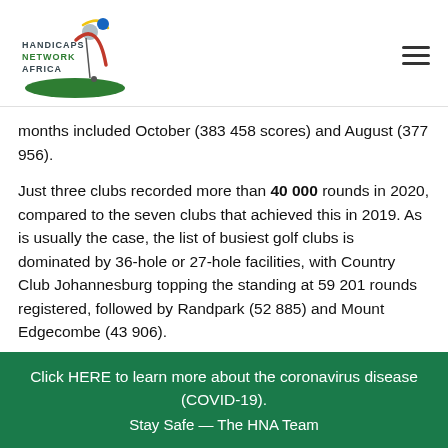[Figure (logo): Handicaps Network Africa logo — golfer silhouette with green oval, red and yellow curved lines, text 'HANDICAPS NETWORK AFRICA' in dark teal/green]
months included October (383 458 scores) and August (377 956).
Just three clubs recorded more than 40 000 rounds in 2020, compared to the seven clubs that achieved this in 2019. As is usually the case, the list of busiest golf clubs is dominated by 36-hole or 27-hole facilities, with Country Club Johannesburg topping the standing at 59 201 rounds registered, followed by Randpark (52 885) and Mount Edgecombe (43 906).
Stellenbosch (37 159) narrowly edged last year's busiest club, Westlake (37 108), when it comes to 18-hole facilities. Wingate Park, Durbanville and Clovelly are the
Click HERE to learn more about the coronavirus disease (COVID-19). Stay Safe — The HNA Team